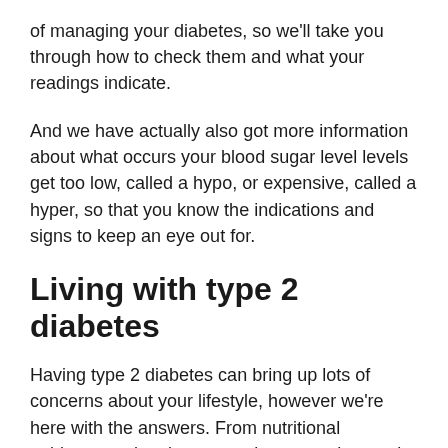of managing your diabetes, so we'll take you through how to check them and what your readings indicate.
And we have actually also got more information about what occurs your blood sugar level levels get too low, called a hypo, or expensive, called a hyper, so that you know the indications and signs to keep an eye out for.
Living with type 2 diabetes
Having type 2 diabetes can bring up lots of concerns about your lifestyle, however we're here with the answers. From nutritional guidance and recipes to assist you understand what to eat when you have type 2 diabetes, to guidance